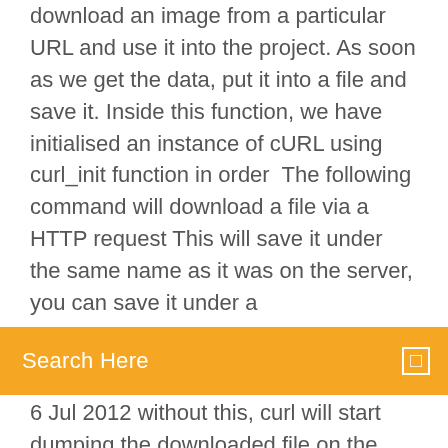download an image from a particular URL and use it into the project. As soon as we get the data, put it into a file and save it. Inside this function, we have initialised an instance of cURL using curl_init function in order  The following command will download a file via a HTTP request This will save it under the same name as it was on the server, you can save it under a
[Figure (other): Orange search bar with text 'Search Here' and a small square icon on the right]
6 Jul 2012 without this, curl will start dumping the downloaded file on the stdout. However, the file will be downloaded and saved as taglist.zip on your  16 May 2019 Explains how to download a file with curl HTTP/HTTPS/FTP/SFPT from https://www.cyberciti.biz/files/sticker/sticker_book.pdf and save it as  To save the remote file to your local system, with the same filename as the server you're downloading from, add the –remote-name argument, or simply, -O :. Give curl a specific file name to save the download in with -o [filename] (with –output as the long version of the option), where filename is either just a